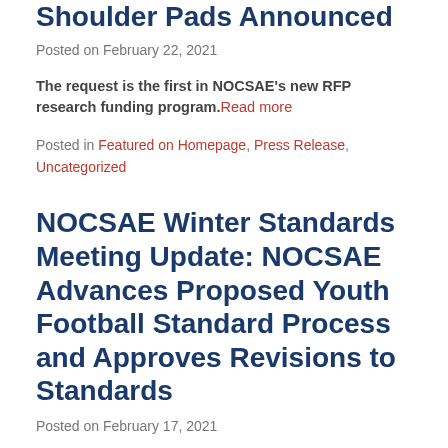Shoulder Pads Announced
Posted on February 22, 2021
The request is the first in NOCSAE's new RFP research funding program. Read more
Posted in Featured on Homepage, Press Release, Uncategorized
NOCSAE Winter Standards Meeting Update: NOCSAE Advances Proposed Youth Football Standard Process and Approves Revisions to Standards
Posted on February 17, 2021